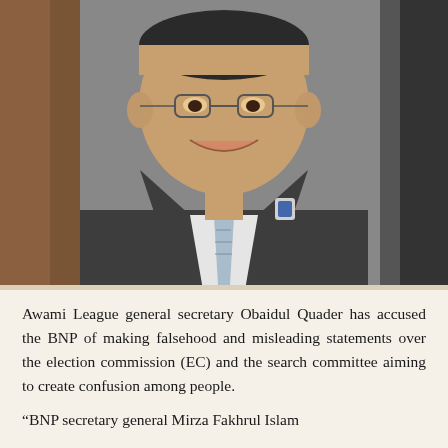[Figure (photo): Photograph of Awami League general secretary Obaidul Quader, a man in a dark grey suit with a blue striped tie and white shirt, smiling, seated indoors with a wooden background.]
Awami League general secretary Obaidul Quader has accused the BNP of making falsehood and misleading statements over the election commission (EC) and the search committee aiming to create confusion among people.
“BNP secretary general Mirza Fakhrul Islam